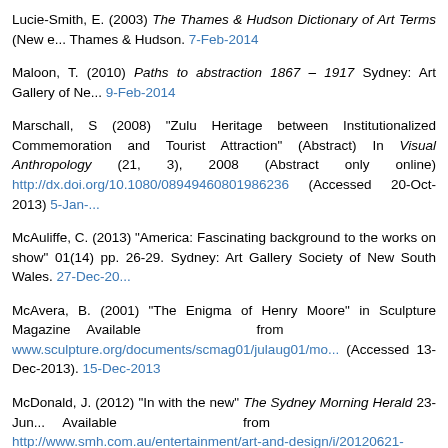Lucie-Smith, E. (2003) The Thames & Hudson Dictionary of Art Terms (New e... Thames & Hudson. 7-Feb-2014
Maloon, T. (2010) Paths to abstraction 1867 – 1917 Sydney: Art Gallery of Ne... 9-Feb-2014
Marschall, S (2008) "Zulu Heritage between Institutionalized Commemoration and Tourist Attraction" (Abstract) In Visual Anthropology (21, 3), 2008 (Abstract only online) http://dx.doi.org/10.1080/08949460801986236 (Accessed 20-Oct-2013) 5-Jan-...
McAuliffe, C. (2013) "America: Fascinating background to the works on show" 01(14) pp. 26-29. Sydney: Art Gallery Society of New South Wales. 27-Dec-20...
McAvera, B. (2001) "The Enigma of Henry Moore" in Sculpture Magazine Available from www.sculpture.org/documents/scmag01/julaug01/mo... (Accessed 13-Dec-2013). 15-Dec-2013
McDonald, J. (2012) "In with the new" The Sydney Morning Herald 23-Jun... Available from http://www.smh.com.au/entertainment/art-and-design/i/20120621-20p1x.html (Accessed 6 July 2012) 27-Dec-2013
The Metropolitan Museum of Art (2006) "Pieter Claesz: Still Life with a Skull and Quill" (49.107) In Heilbrunn Timeline of Art History . New York: The Metropol...